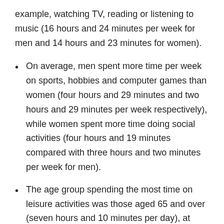example, watching TV, reading or listening to music (16 hours and 24 minutes per week for men and 14 hours and 23 minutes for women).
On average, men spent more time per week on sports, hobbies and computer games than women (four hours and 29 minutes and two hours and 29 minutes per week respectively), while women spent more time doing social activities (four hours and 19 minutes compared with three hours and two minutes per week for men).
The age group spending the most time on leisure activities was those aged 65 and over (seven hours and 10 minutes per day), at 50% more time in